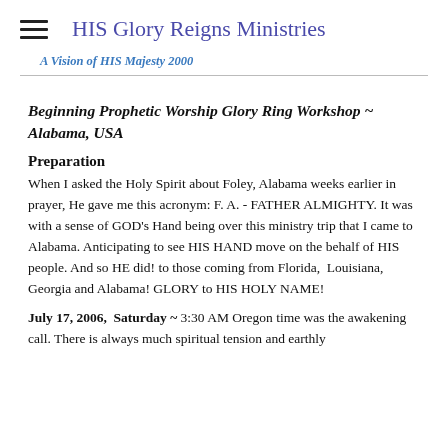HIS Glory Reigns Ministries
A Vision of HIS Majesty 2000
Beginning Prophetic Worship Glory Ring Workshop ~ Alabama, USA
Preparation
When I asked the Holy Spirit about Foley, Alabama weeks earlier in prayer, He gave me this acronym: F. A. - FATHER ALMIGHTY. It was with a sense of GOD's Hand being over this ministry trip that I came to Alabama. Anticipating to see HIS HAND move on the behalf of HIS people. And so HE did! to those coming from Florida,  Louisiana, Georgia and Alabama! GLORY to HIS HOLY NAME!
July 17, 2006,  Saturday ~ 3:30 AM Oregon time was the awakening call. There is always much spiritual tension and earthly